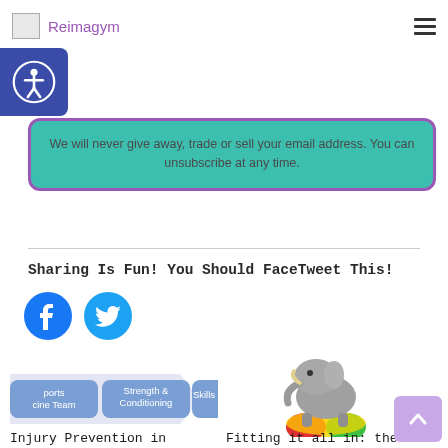Reimagym
We will never give away, trade or sell your email address. You can unsubscribe at any time.
Sharing Is Fun! You Should FaceTweet This!
[Figure (illustration): Facebook and Twitter circular social share buttons]
[Figure (infographic): Process arrow diagram with categories: sports medicine team, Strength & Conditioning, Skills Coaching]
Injury Prevention in Circus Arts: an approach we need to talk about more (part
[Figure (photo): Elephant balancing on a colorful ball]
Fitting it all in: the trouble with #circuseverydamnday